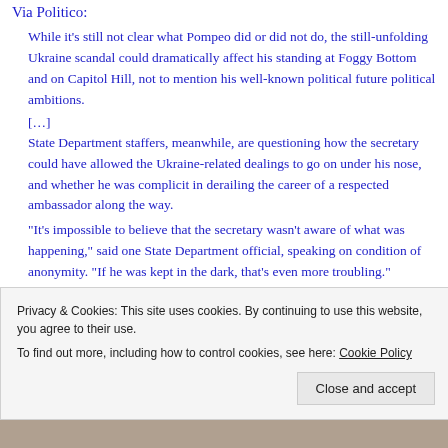Via Politico:
While it’s still not clear what Pompeo did or did not do, the still-unfolding Ukraine scandal could dramatically affect his standing at Foggy Bottom and on Capitol Hill, not to mention his well-known political future political ambitions.
[…]
State Department staffers, meanwhile, are questioning how the secretary could have allowed the Ukraine-related dealings to go on under his nose, and whether he was complicit in derailing the career of a respected ambassador along the way.
“It’s impossible to believe that the secretary wasn’t aware of what was happening,” said one State Department official, speaking on condition of anonymity. “If he was kept in the dark, that’s even more troubling.”
Privacy & Cookies: This site uses cookies. By continuing to use this website, you agree to their use.
To find out more, including how to control cookies, see here: Cookie Policy
Close and accept